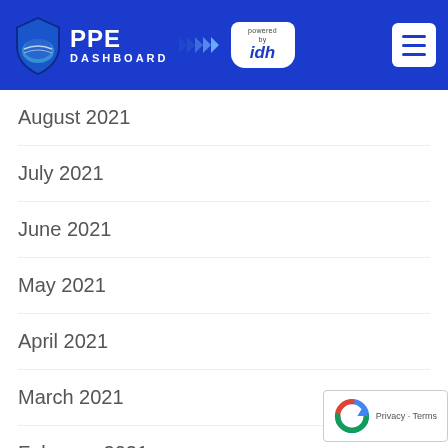PPE DASHBOARD powered by idh
August 2021
July 2021
June 2021
May 2021
April 2021
March 2021
February 2021
January 2021
June 2020